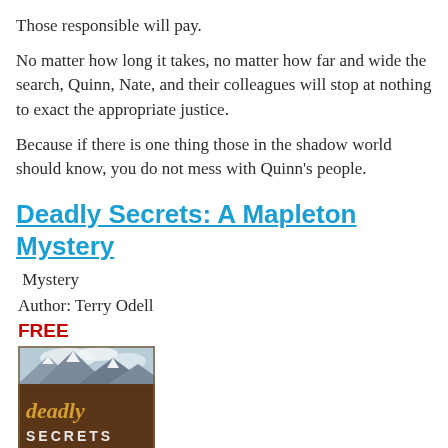Those responsible will pay.
No matter how long it takes, no matter how far and wide the search, Quinn, Nate, and their colleagues will stop at nothing to exact the appropriate justice.
Because if there is one thing those in the shadow world should know, you do not mess with Quinn’s people.
Deadly Secrets: A Mapleton Mystery
Mystery
Author: Terry Odell
FREE
[Figure (photo): Book cover of Deadly Secrets showing mountains in the background and the title text 'deadly SECRETS' in gold and white letters on a dark brown book-like surface.]